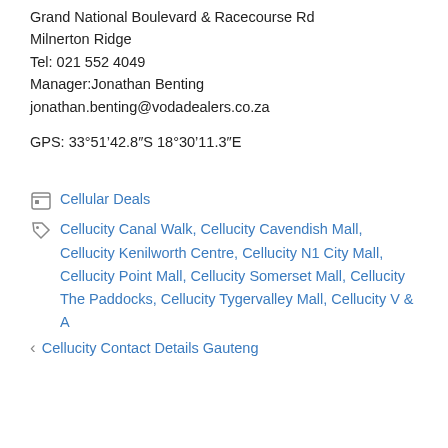Grand National Boulevard & Racecourse Rd
Milnerton Ridge
Tel: 021 552 4049
Manager:Jonathan Benting
jonathan.benting@vodadealers.co.za
GPS: 33°51’42.8″S 18°30’11.3″E
Cellular Deals
Cellucity Canal Walk, Cellucity Cavendish Mall, Cellucity Kenilworth Centre, Cellucity N1 City Mall, Cellucity Point Mall, Cellucity Somerset Mall, Cellucity The Paddocks, Cellucity Tygervalley Mall, Cellucity V & A
Cellucity Contact Details Gauteng